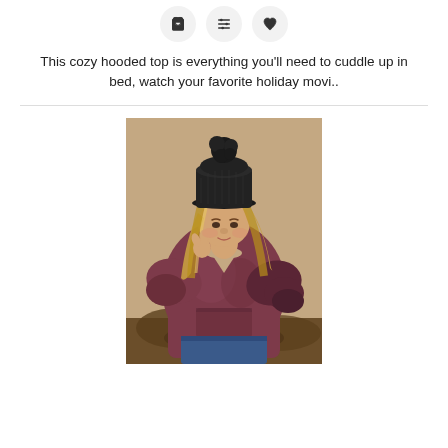[Figure (other): Three circular icon buttons: shopping cart, sliders/compare, and heart/favorite]
This cozy hooded top is everything you'll need to cuddle up in bed, watch your favorite holiday movi..
[Figure (photo): Woman wearing a dark burgundy/mauve mineral wash hooded top and blue jeans, with a black knit pom-pom beanie, holding her hair, photographed outdoors against a neutral background]